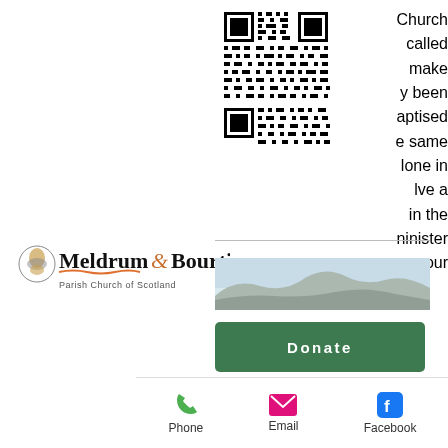[Figure (other): QR code for church website or donation link]
Church called make y been aptised e same lone in lve a in the ninister 1 your
[Figure (logo): Meldrum & Bourtie Parish Church of Scotland logo with crest icon]
[Figure (photo): Mountain landscape strip photo]
[Figure (other): Green Donate button]
[Figure (other): Facebook rounded square icon]
[Figure (other): Menu/hamburger rounded square icon]
ch or
nip
class, please contact our Minister or Session Clerk.  You are not committed to anything until you make your promises
[Figure (other): Bottom navigation bar with Phone, Email, Facebook icons and labels]